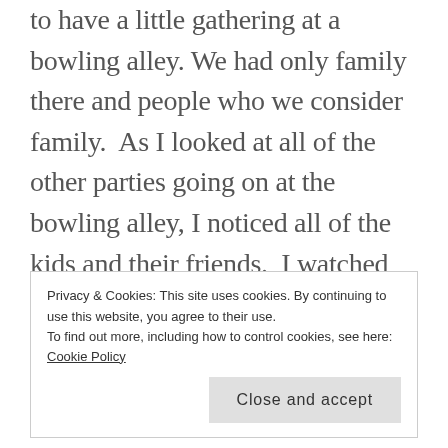to have a little gathering at a bowling alley. We had only family there and people who we consider family.  As I looked at all of the other parties going on at the bowling alley, I noticed all of the kids and their friends.  I watched how they interacted and played with each other and secretly wanted that for my son.  Then I looked at MJ and realized how much fun he was having.  He was so excited to have people around him that he knew and loved.  The only person that was worried was me! I literally had a talk with myself while there and I decided to shut out those thoughts and focus on my son.  My little boy is
Privacy & Cookies: This site uses cookies. By continuing to use this website, you agree to their use.
To find out more, including how to control cookies, see here: Cookie Policy
Close and accept